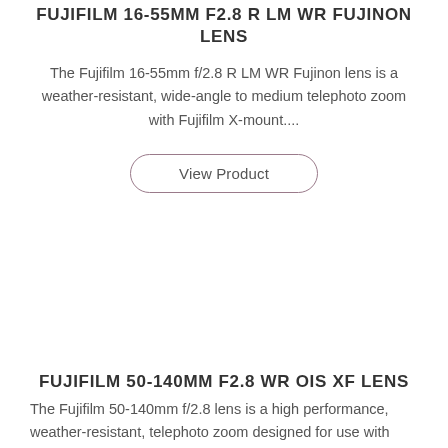FUJIFILM 16-55MM F2.8 R LM WR FUJINON LENS
The Fujifilm 16-55mm f/2.8 R LM WR Fujinon lens is a weather-resistant, wide-angle to medium telephoto zoom with Fujifilm X-mount....
View Product
FUJIFILM 50-140MM F2.8 WR OIS XF LENS
The Fujifilm 50-140mm f/2.8 lens is a high performance, weather-resistant, telephoto zoom designed for use with